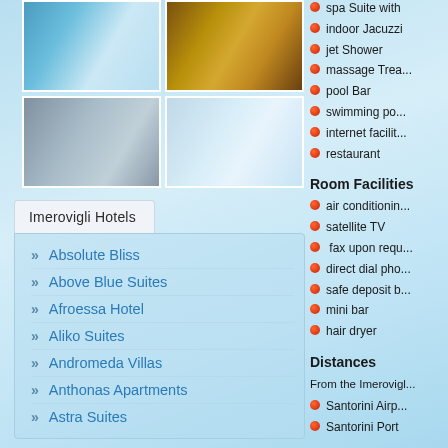[Figure (photo): Grid of 4 hotel room and view photos: blue pillow suite, candlelit room, bedroom with curtains, sea view terrace]
Imerovigli Hotels
Absolute Bliss
Above Blue Suites
Afroessa Hotel
Aliko Suites
Andromeda Villas
Anthonas Apartments
Astra Suites
spa Suite with
indoor Jacuzzi
jet Shower
massage Treatment
pool Bar
swimming pool
internet facility
restaurant
Room Facilities
air conditioning
satellite TV
fax upon request
direct dial phone
safe deposit box
mini bar
hair dryer
Distances
From the Imerovigli
Santorini Airport
Santorini Port